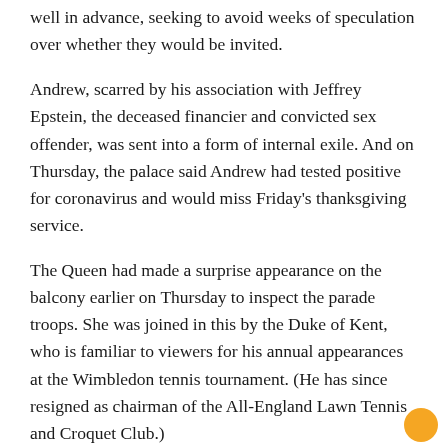well in advance, seeking to avoid weeks of speculation over whether they would be invited.
Andrew, scarred by his association with Jeffrey Epstein, the deceased financier and convicted sex offender, was sent into a form of internal exile. And on Thursday, the palace said Andrew had tested positive for coronavirus and would miss Friday's thanksgiving service.
The Queen had made a surprise appearance on the balcony earlier on Thursday to inspect the parade troops. She was joined in this by the Duke of Kent, who is familiar to viewers for his annual appearances at the Wimbledon tennis tournament. (He has since resigned as chairman of the All-England Lawn Tennis and Croquet Club.)
She also led the lighting of the Platinum Jubilee Beacon on Thursday evening from Windsor Castle, in a double ceremony with Prince William.
Friday's service of thanksgiving is meant to illustrate the Queen's special role in British life as head of state and head of the Church of